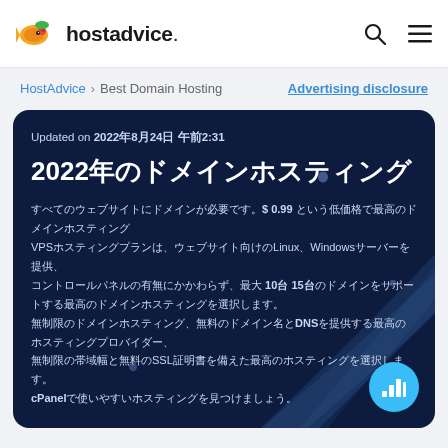hostadvice.
HostAdvice > Best Domain Hosting    Advertising disclosure
Updated on 2022年8月24日 午前2:31
2022年のドメインホスティング
すべてのウェブサイトにドメインが必要です。$ 0.99 という低価格で最高のドメインホスティング VPSホスティングプランは、ウェブサイト向けのLinux、Windowsサーバーを提供、コントロールパネルの有無にかかわらず、最大 10台 15台のドメインをサポートする最高のドメインホスティングを選択します。無制限のドメインホスティング、無料のドメイン名とDNSを提供する最高のホスティングプロバイダー、無制限の帯域幅と無料のSSL証明書を備えた最高のホスティングを選択します。cPanelで使いやすいホスティングを見つけましょう。